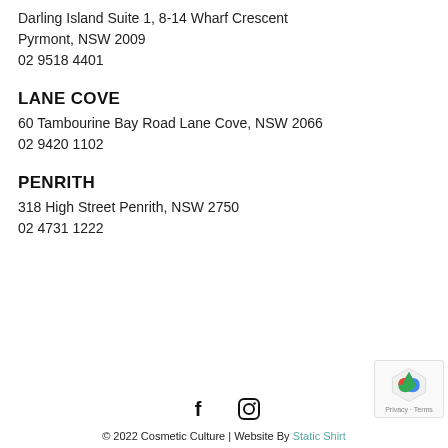Darling Island Suite 1, 8-14 Wharf Crescent
Pyrmont, NSW 2009
02 9518 4401
LANE COVE
60 Tambourine Bay Road Lane Cove, NSW 2066
02 9420 1102
PENRITH
318 High Street Penrith, NSW 2750
02 4731 1222
[Figure (other): Social media icons: Facebook (f) and Instagram (circle with camera)]
© 2022 Cosmetic Culture | Website By Static Shirt